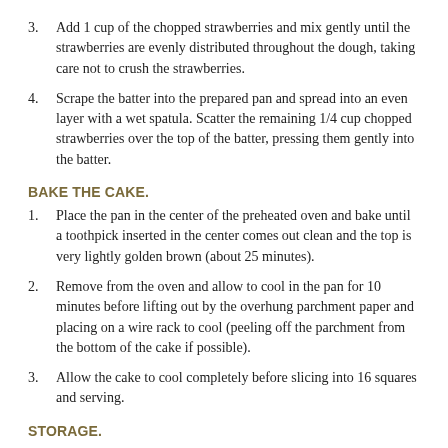3. Add 1 cup of the chopped strawberries and mix gently until the strawberries are evenly distributed throughout the dough, taking care not to crush the strawberries.
4. Scrape the batter into the prepared pan and spread into an even layer with a wet spatula. Scatter the remaining 1/4 cup chopped strawberries over the top of the batter, pressing them gently into the batter.
BAKE THE CAKE.
1. Place the pan in the center of the preheated oven and bake until a toothpick inserted in the center comes out clean and the top is very lightly golden brown (about 25 minutes).
2. Remove from the oven and allow to cool in the pan for 10 minutes before lifting out by the overhung parchment paper and placing on a wire rack to cool (peeling off the parchment from the bottom of the cake if possible).
3. Allow the cake to cool completely before slicing into 16 squares and serving.
STORAGE.
1. The cake freezes really well. Just wrap the pieces tightly in freezer-